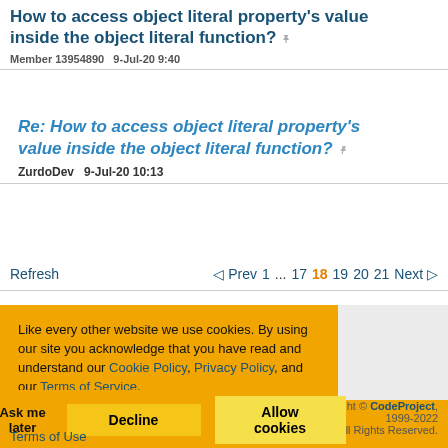How to access object literal property's value inside the object literal function?
Member 13954890   9-Jul-20 9:40
Re: How to access object literal property's value inside the object literal function?
ZurdoDev   9-Jul-20 10:13
Refresh   ◁ Prev  1  ...  17  18  19  20  21  Next ▷
Like every other website we use cookies. By using our site you acknowledge that you have read and understand our Cookie Policy, Privacy Policy, and our Terms of Service. Learn more
Ask me later   Decline   Allow cookies
Copyright © CodeProject, 1999-2022 All Rights Reserved.
Terms of Use